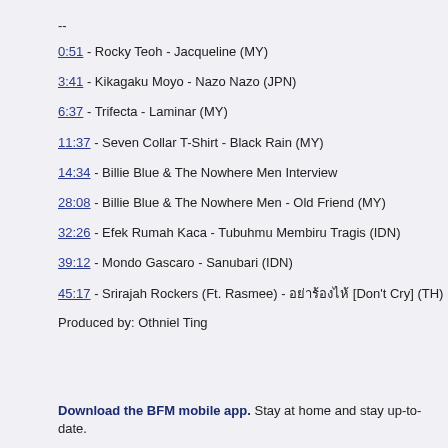--
0:51 - Rocky Teoh - Jacqueline (MY)
3:41 - Kikagaku Moyo - Nazo Nazo (JPN)
6:37 - Trifecta - Laminar (MY)
11:37 - Seven Collar T-Shirt - Black Rain (MY)
14:34 - Billie Blue & The Nowhere Men Interview
28:08 - Billie Blue & The Nowhere Men - Old Friend (MY)
32:26 - Efek Rumah Kaca - Tubuhmu Membiru Tragis (IDN)
39:12 - Mondo Gascaro - Sanubari (IDN)
45:17 - Srirajah Rockers (Ft. Rasmee) - อย่าร้องไห้ [Don't Cry] (TH)
Produced by: Othniel Ting
Download the BFM mobile app. Stay at home and stay up-to-date.